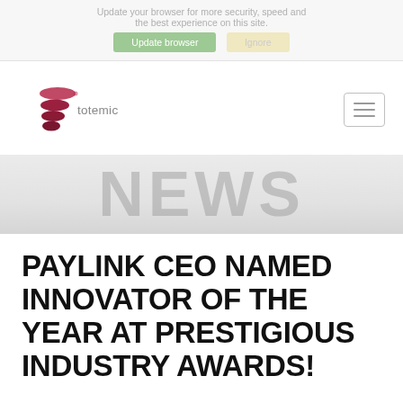Update your browser for more security, speed and the best experience on this site.
[Figure (logo): Totemic logo with stylized red/maroon stacked oval shapes and 'totemic' text]
[Figure (screenshot): Hamburger menu icon button]
NEWS
PAYLINK CEO NAMED INNOVATOR OF THE YEAR AT PRESTIGIOUS INDUSTRY AWARDS!